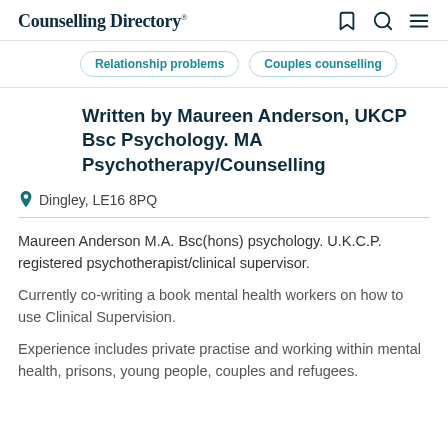Counselling Directory
Relationship problems
Couples counselling
Written by Maureen Anderson, UKCP Bsc Psychology. MA Psychotherapy/Counselling
Dingley, LE16 8PQ
Maureen Anderson M.A. Bsc(hons) psychology. U.K.C.P. registered psychotherapist/clinical supervisor.
Currently co-writing a book mental health workers on how to use Clinical Supervision.
Experience includes private practise and working within mental health, prisons, young people, couples and refugees.